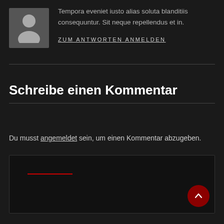[Figure (illustration): Gray placeholder avatar icon (person silhouette) on dark background]
Tempora eveniet iusto alias soluta blanditiis consequuntur. Sit neque repellendus et in.
ZUM ANTWORTEN ANMELDEN
Schreibe einen Kommentar
Du musst angemeldet sein, um einen Kommentar abzugeben.
[Figure (other): Dark input/comment box with a short red horizontal line near the top-left, and a dark red circular scroll-to-top button with an upward arrow in the bottom-right corner]